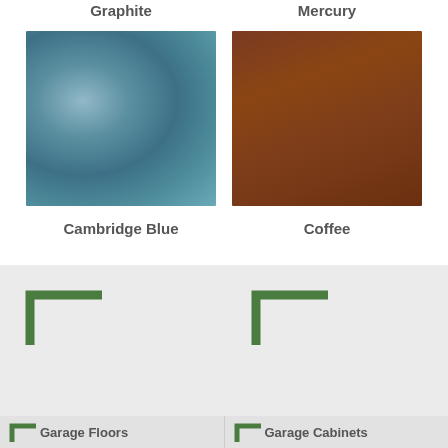[Figure (photo): Graphite color swatch - dark charcoal texture]
Graphite
[Figure (photo): Mercury color swatch - dark grey texture]
Mercury
[Figure (photo): Cambridge Blue color swatch - mottled blue-teal texture]
Cambridge Blue
[Figure (photo): Coffee color swatch - warm brown texture]
Coffee
[Figure (illustration): Green L-shaped corner bracket icon top-left of bottom section]
[Figure (illustration): Green L-shaped corner bracket icon top-right of bottom section]
[Figure (illustration): Green L-shaped corner bracket icon bottom-left of bottom section, with Garage Floors label]
[Figure (illustration): Green L-shaped corner bracket icon bottom-right of bottom section, with Garage Cabinets label]
Garage Floors
Garage Cabinets